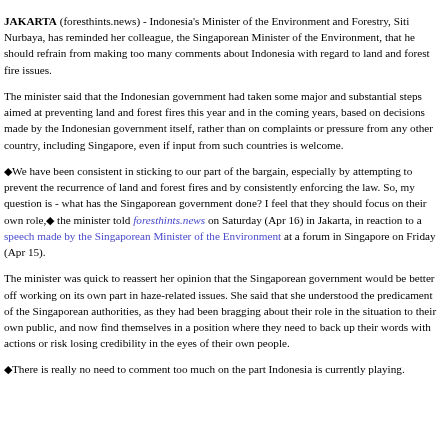JAKARTA (foresthints.news) - Indonesia's Minister of the Environment and Forestry, Siti Nurbaya, has reminded her colleague, the Singaporean Minister of the Environment, that he should refrain from making too many comments about Indonesia with regard to land and forest fire issues.
The minister said that the Indonesian government had taken some major and substantial steps aimed at preventing land and forest fires this year and in the coming years, based on decisions made by the Indonesian government itself, rather than on complaints or pressure from any other country, including Singapore, even if input from such countries is welcome.
❝We have been consistent in sticking to our part of the bargain, especially by attempting to prevent the recurrence of land and forest fires and by consistently enforcing the law. So, my question is - what has the Singaporean government done? I feel that they should focus on their own role,❞ the minister told foresthints.news on Saturday (Apr 16) in Jakarta, in reaction to a speech made by the Singaporean Minister of the Environment at a forum in Singapore on Friday (Apr 15).
The minister was quick to reassert her opinion that the Singaporean government would be better off working on its own part in haze-related issues. She said that she understood the predicament of the Singaporean authorities, as they had been bragging about their role in the situation to their own public, and now find themselves in a position where they need to back up their words with actions or risk losing credibility in the eyes of their own people.
❝There is really no need to comment too much on the part Indonesia is currently playing.